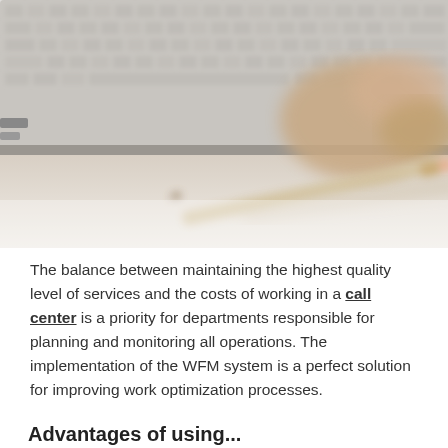[Figure (photo): Close-up photo of a laptop keyboard with a hand reaching toward it and a pencil resting on a light wooden surface in the foreground. The image is blurred/bokeh in the foreground with the laptop keys in the background.]
The balance between maintaining the highest quality level of services and the costs of working in a call center is a priority for departments responsible for planning and monitoring all operations. The implementation of the WFM system is a perfect solution for improving work optimization processes.
Advantages of using...